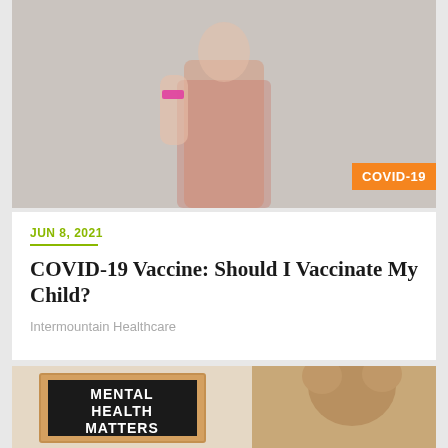[Figure (photo): Woman in floral dress with pink bandage on upper arm (vaccination site), standing against neutral background. Orange COVID-19 badge in bottom right corner.]
JUN 8, 2021
COVID-19 Vaccine: Should I Vaccinate My Child?
Intermountain Healthcare
[Figure (photo): Black letter board in wooden frame reading 'MENTAL HEALTH MATTERS', next to a child or stuffed bear with curly brown hair.]